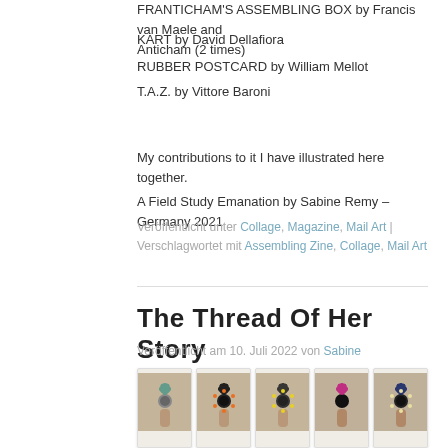FRANTICHAM'S ASSEMBLING BOX by Francis van Maele and Anticham (2 times)
KART by David Dellafiora
RUBBER POSTCARD by William Mellot
T.A.Z. by Vittore Baroni
My contributions to it I have illustrated here together.
A Field Study Emanation by Sabine Remy – Germany 2021
Veröffentlicht unter Collage, Magazine, Mail Art | Verschlagwortet mit Assembling Zine, Collage, Mail Art
The Thread Of Her Story
Veröffentlicht am 10. Juli 2022 von Sabine
[Figure (photo): Five Polaroid-style photographs arranged in a row, each showing a hand holding a decorative flower-like object against a muted background. The flowers vary in color: teal/green, black with orange, yellow, pink/magenta, and dark blue.]